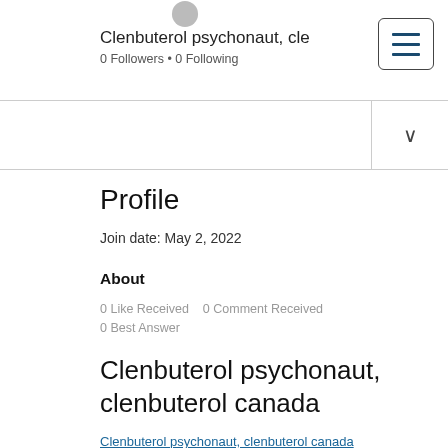[Figure (illustration): Partial view of a circular avatar/profile image, gray colored, at the top center]
Clenbuterol psychonaut, cle
0 Followers • 0 Following
[Figure (other): Hamburger menu button with three horizontal dark blue lines inside a rounded rectangle border]
Profile
Join date: May 2, 2022
About
0 Like Received    0 Comment Received
0 Best Answer
Clenbuterol psychonaut, clenbuterol canada
Clenbuterol psychonaut, clenbuterol canada